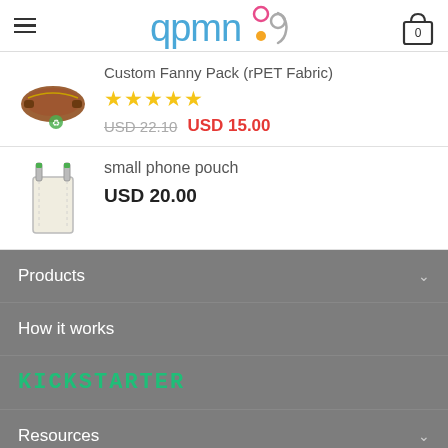qpmn — navigation header with hamburger menu and cart icon showing 0
Custom Fanny Pack (rPET Fabric)
★★★★★
USD 22.10  USD 15.00
small phone pouch
USD 20.00
Products
How it works
KICKSTARTER
Resources